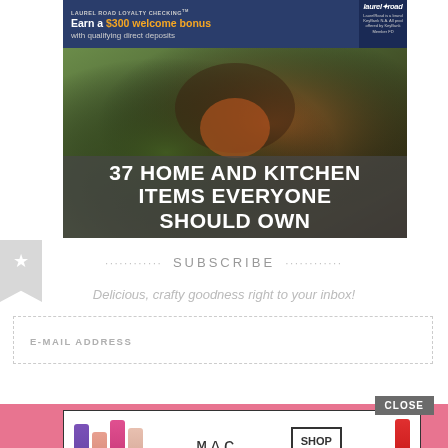[Figure (screenshot): Laurel Road Loyalty Checking advertisement banner - dark blue background, text 'Earn a $300 welcome bonus with qualifying direct deposits', Laurel Road logo on right]
[Figure (photo): Hero image showing food/kitchen items with overlay text '37 HOME AND KITCHEN ITEMS EVERYONE SHOULD OWN' on dark semi-transparent background]
SUBSCRIBE
Delicious, crafty goodness right to your inbox!
E-MAIL ADDRESS
CLOSE
[Figure (screenshot): MAC cosmetics advertisement with lipsticks, MAC logo, and SHOP NOW button]